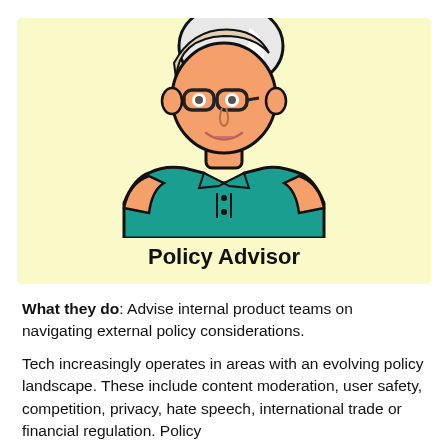[Figure (illustration): Cartoon illustration of an older man with glasses, gray-streaked hair, wearing a teal short-sleeve shirt, on a light yellow background. Labeled 'Policy Advisor' beneath the figure.]
What they do: Advise internal product teams on navigating external policy considerations.
Tech increasingly operates in areas with an evolving policy landscape. These include content moderation, user safety, competition, privacy, hate speech, international trade or financial regulation. Policy